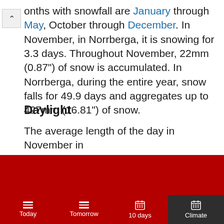onths with snowfall are January through May, October through December. In November, in Norrberga, it is snowing for 3.3 days. Throughout November, 22mm (0.87") of snow is accumulated. In Norrberga, during the entire year, snow falls for 49.9 days and aggregates up to 427mm (16.81") of snow.
Daylight
The average length of the day in November in